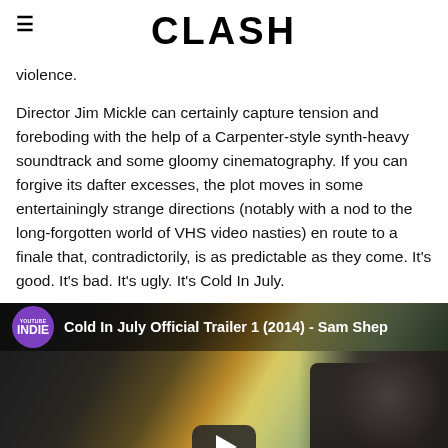CLASH
violence.
Director Jim Mickle can certainly capture tension and foreboding with the help of a Carpenter-style synth-heavy soundtrack and some gloomy cinematography. If you can forgive its dafter excesses, the plot moves in some entertainingly strange directions (notably with a nod to the long-forgotten world of VHS video nasties) en route to a finale that, contradictorily, is as predictable as they come. It's good. It's bad. It's ugly. It's Cold In July.
[Figure (screenshot): YouTube video thumbnail for 'Cold In July Official Trailer 1 (2014) - Sam Shep...' with INDIE channel badge, dark cinematic scene showing a man in sunglasses, and a play button overlay]